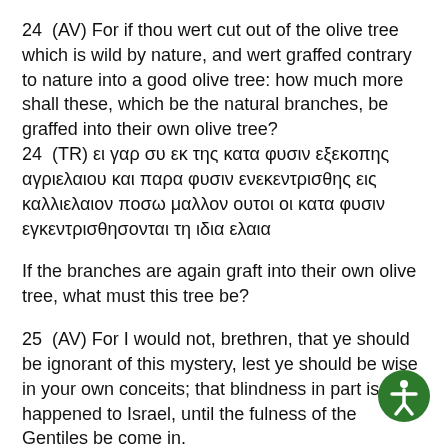24  (AV) For if thou wert cut out of the olive tree which is wild by nature, and wert graffed contrary to nature into a good olive tree: how much more shall these, which be the natural branches, be graffed into their own olive tree? 24  (TR) ει γαρ συ εκ της κατα φυσιν εξεκοπης αγριελαιου και παρα φυσιν ενεκεντρισθης εις καλλιελαιον ποσω μαλλον ουτοι οι κατα φυσιν εγκεντρισθησονται τη ιδια ελαια
If the branches are again graft into their own olive tree, what must this tree be?
25  (AV) For I would not, brethren, that ye should be ignorant of this mystery, lest ye should be wise in your own conceits; that blindness in part is happened to Israel, until the fulness of the Gentiles be come in.